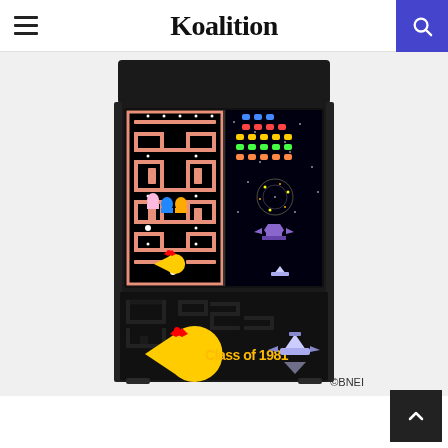Koalition
[Figure (photo): Arcade cabinet with Ms. Pac-Man and Galaga artwork, labeled 'Class of 1981', black cabinet with colorful game screen artwork]
©BNEI